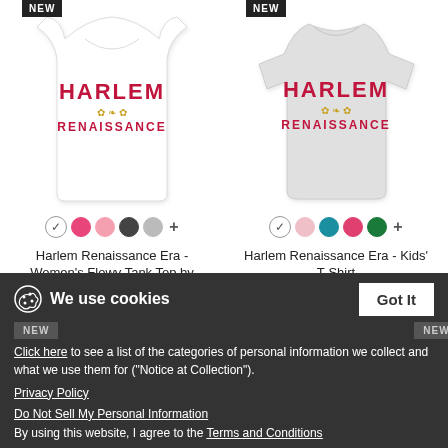[Figure (photo): White women's flowy tank top with 'HARLEM RENAISSANCE' text in red and gold]
[Figure (photo): Light gray kids' t-shirt with 'HARLEM RENAISSANCE' text in red and gold]
Harlem Renaissance Era - Women's Flowy Tank Top by Bella
$26.49
Harlem Renaissance Era - Kids' T-Shirt
$18.99
We use cookies
Click here to see a list of the categories of personal information we collect and what we use them for ("Notice at Collection").
Privacy Policy
Do Not Sell My Personal Information
By using this website, I agree to the Terms and Conditions